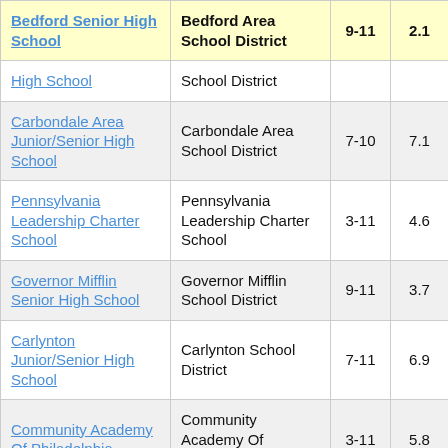| School | District | Grades | Score |  |
| --- | --- | --- | --- | --- |
| Bedford Senior High School | Bedford Area School District | 9-11 | 2.1 |  |
| High School | School District |  |  |  |
| Carbondale Area Junior/Senior High School | Carbondale Area School District | 7-10 | 7.1 |  |
| Pennsylvania Leadership Charter School | Pennsylvania Leadership Charter School | 3-11 | 4.6 |  |
| Governor Mifflin Senior High School | Governor Mifflin School District | 9-11 | 3.7 |  |
| Carlynton Junior/Senior High School | Carlynton School District | 7-11 | 6.9 |  |
| Community Academy Of Philadelphia | Community Academy Of Philadelphia | 3-11 | 5.8 |  |